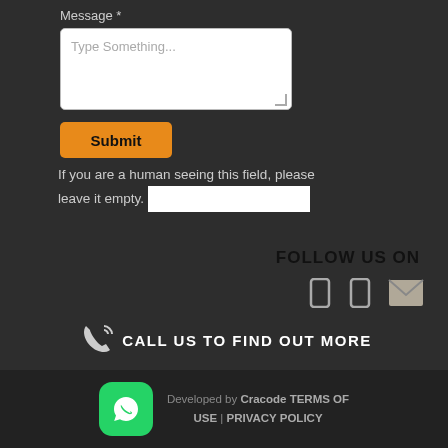Message *
[Figure (screenshot): Text area input box with placeholder text 'Type Something...']
Submit
If you are a human seeing this field, please leave it empty.
FOLLOW US ON
[Figure (infographic): Three social media icons: two rectangular icons and one envelope/email icon]
CALL US TO FIND OUT MORE
Developed by Cracode TERMS OF USE | PRIVACY POLICY